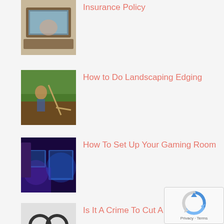[Figure (photo): Person working on a laptop at a desk]
Insurance Policy
[Figure (photo): Person doing landscaping edging in a garden]
How to Do Landscaping Edging
[Figure (photo): Gaming room setup with blue/purple LED lighting and monitors]
How To Set Up Your Gaming Room
[Figure (photo): Handcuffs and keys on a white background]
Is It A Crime To Cut A Tree
[Figure (photo): Broken image placeholder for What article]
What Are Some Fun Things to Do Near